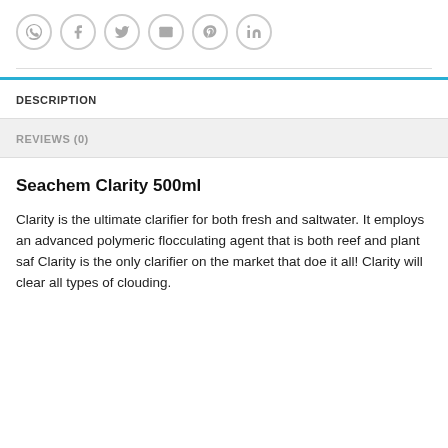[Figure (infographic): Row of 6 social sharing icon circles: WhatsApp, Facebook, Twitter, Email, Pinterest, LinkedIn]
DESCRIPTION
REVIEWS (0)
Seachem Clarity 500ml
Clarity is the ultimate clarifier for both fresh and saltwater. It employs an advanced polymeric flocculating agent that is both reef and plant saf Clarity is the only clarifier on the market that doe it all! Clarity will clear all types of clouding.